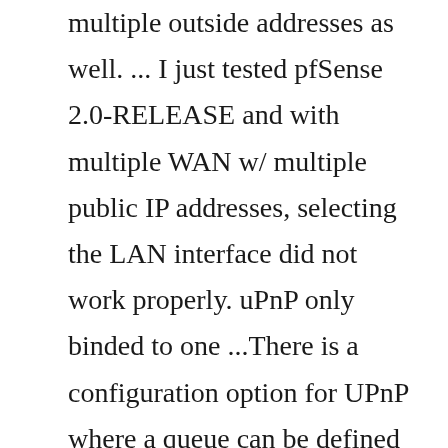multiple outside addresses as well. ... I just tested pfSense 2.0-RELEASE and with multiple WAN w/ multiple public IP addresses, selecting the LAN interface did not work properly. uPnP only binded to one ...There is a configuration option for UPnP where a queue can be defined to which UPnP will direct traffic that is directed through the rules it creates. This may be set through the pfSense® software GUI at Services > UPnP & NAT-PMP, and type in a